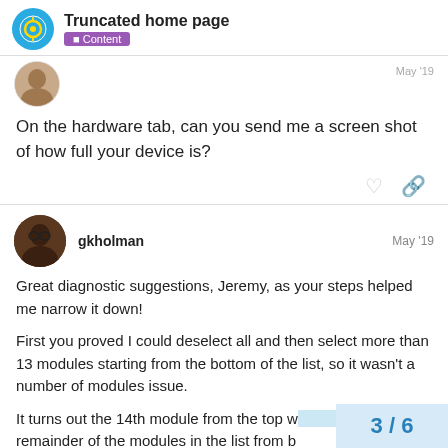Truncated home page — Content
[Figure (photo): Partial view of a user avatar (person's photo) at top of first post, with username and date cut off]
On the hardware tab, can you send me a screen shot of how full your device is?
gkholman — May '19
[Figure (photo): Avatar photo of user gkholman]
Great diagnostic suggestions, Jeremy, as your steps helped me narrow it down!
First you proved I could deselect all and then select more than 13 modules starting from the bottom of the list, so it wasn't a number of modules issue.
It turns out the 14th module from the top w... remainder of the modules in the list from b...
3 / 6